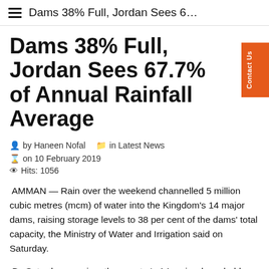Dams 38% Full, Jordan Sees 6…
Dams 38% Full, Jordan Sees 67.7% of Annual Rainfall Average
by Haneen Nofal   in Latest News   on 10 February 2019
Hits: 1056
AMMAN — Rain over the weekend channelled 5 million cubic metres (mcm) of water into the Kingdom's 14 major dams, raising storage levels to 38 per cent of the dams' total capacity, the Ministry of Water and Irrigation said on Saturday.
By Saturday morning, the country's 14 major dams held 128mcm of their total capacity of 336mcm, Water Minister Raed Khreis said, according to a statement. The